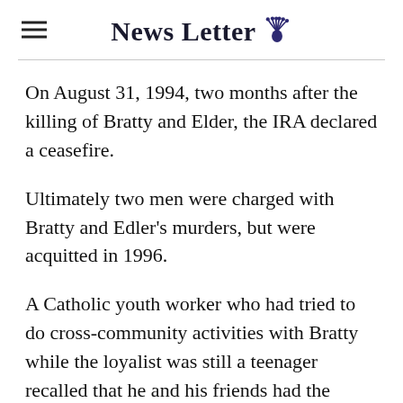News Letter
On August 31, 1994, two months after the killing of Bratty and Elder, the IRA declared a ceasefire.
Ultimately two men were charged with Bratty and Edler's murders, but were acquitted in 1996.
A Catholic youth worker who had tried to do cross-community activities with Bratty while the loyalist was still a teenager recalled that he and his friends had the letters 'KKK' tattooed on themselves.